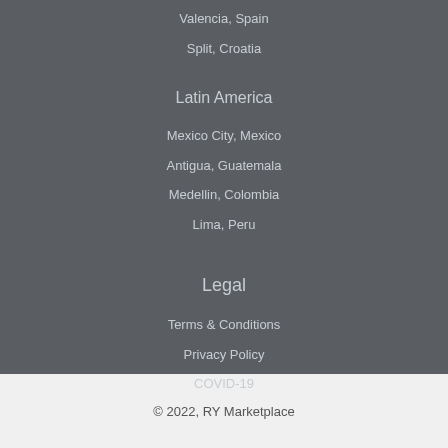Valencia, Spain
Split, Croatia
Latin America
Mexico City, Mexico
Antigua, Guatemala
Medellin, Colombia
Lima, Peru
Legal
Terms & Conditions
Privacy Policy
COVID-19
© 2022, RY Marketplace